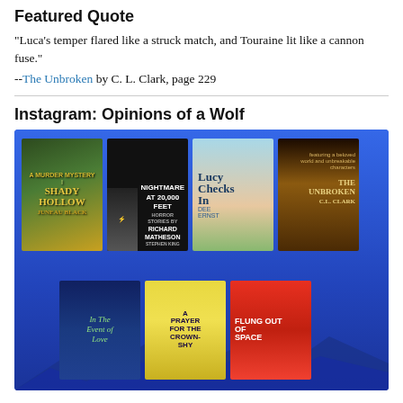Featured Quote
"Luca's temper flared like a struck match, and Touraine lit like a cannon fuse."
--The Unbroken by C. L. Clark, page 229
Instagram: Opinions of a Wolf
[Figure (photo): Instagram post from Opinions of a Wolf showing seven book covers arranged on a blue mountain background: Shady Hollow by Juneau Black, Nightmare at 20,000 Feet by Richard Matheson, Lucy Checks In by Dee Ernst, The Unbroken by C. L. Clark, In The Event of Love, A Prayer for the Crown-Shy, and Flung Out of Space.]